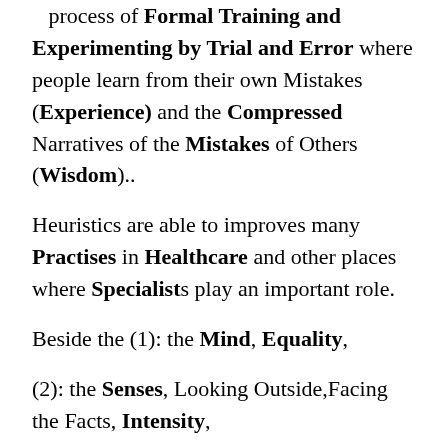...that is acquired during a process of Formal Training and Experimenting by Trial and Error where people learn from their own Mistakes (Experience) and the Compressed Narratives of the Mistakes of Others (Wisdom)..
Heuristics are able to improves many Practises in Healthcare and other places where Specialists play an important role.
Beside the (1): the Mind, Equality,
(2): the Senses, Looking Outside,Facing the Facts, Intensity,
(3): the Emotions (Evaluate), Together,